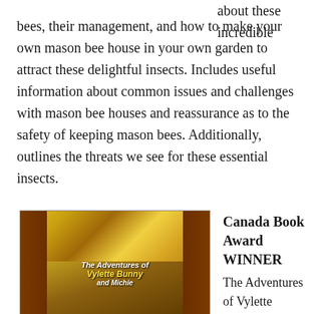about these incredible bees, their management, and how to make your own mason bee house in your own garden to attract these delightful insects. Includes useful information about common issues and challenges with mason bee houses and reassurance as to the safety of keeping mason bees. Additionally, outlines the threats we see for these essential insects.
[Figure (illustration): Book cover for 'The Adventures of Vylette Bunny and Michie' showing autumn forest trees with colorful foliage]
Canada Book Award WINNER
The Adventures of Vylette Bunny and Michie I...